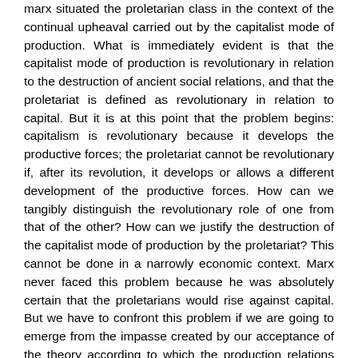marx situated the proletarian class in the context of the continual upheaval carried out by the capitalist mode of production. What is immediately evident is that the capitalist mode of production is revolutionary in relation to the destruction of ancient social relations, and that the proletariat is defined as revolutionary in relation to capital. But it is at this point that the problem begins: capitalism is revolutionary because it develops the productive forces; the proletariat cannot be revolutionary if, after its revolution, it develops or allows a different development of the productive forces. How can we tangibly distinguish the revolutionary role of one from that of the other? How can we justify the destruction of the capitalist mode of production by the proletariat? This cannot be done in a narrowly economic context. Marx never faced this problem because he was absolutely certain that the proletarians would rise against capital. But we have to confront this problem if we are going to emerge from the impasse created by our acceptance of the theory according to which the production relations come into conflict with the development of the productive forces (forces which were postulated to exist for the human being, since if this were not the case, why would human beings rebel?) If the productive forces do not exist for human beings but for capital, and if they conflict with production relations, then this means that these relations do not provide the proper structure to the capitalist